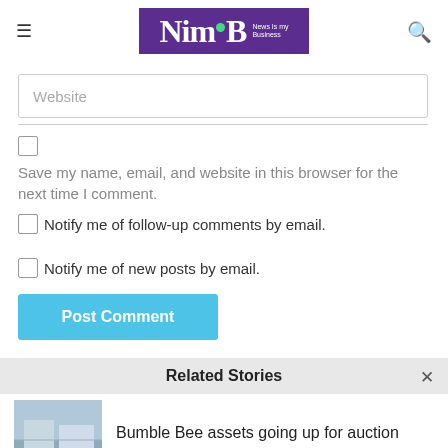NimB News Is my Business
Website
Save my name, email, and website in this browser for the next time I comment.
Notify me of follow-up comments by email.
Notify me of new posts by email.
Post Comment
Related Stories
Bumble Bee assets going up for auction